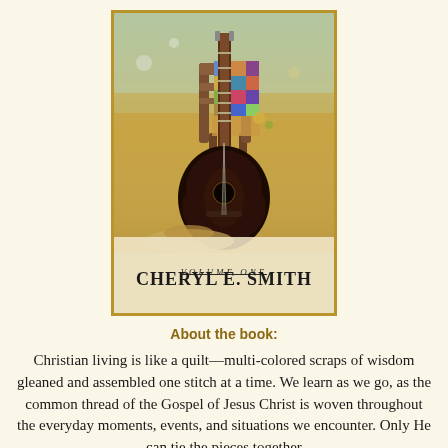[Figure (photo): Book cover for a volume by Cheryl E. Smith. Shows an acoustic guitar leaning against a wooden chair with a colorful patchwork quilt draped over it. Set outdoors in a field. Text on cover reads 'VOLUME ONE' and 'CHERYL E. SMITH'.]
About the book:
Christian living is like a quilt—multi-colored scraps of wisdom gleaned and assembled one stitch at a time. We learn as we go, as the common thread of the Gospel of Jesus Christ is woven throughout the everyday moments, events, and situations we encounter. Only He can tie the pieces together